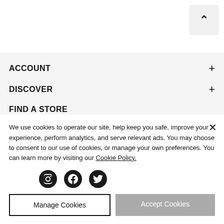^ (scroll to top button)
ACCOUNT +
DISCOVER +
FIND A STORE
CONNECT
We use cookies to operate our site, help keep you safe, improve your experience, perform analytics, and serve relevant ads. You may choose to consent to our use of cookies, or manage your own preferences. You can learn more by visiting our Cookie Policy.
Manage Cookies
Accept Cookies